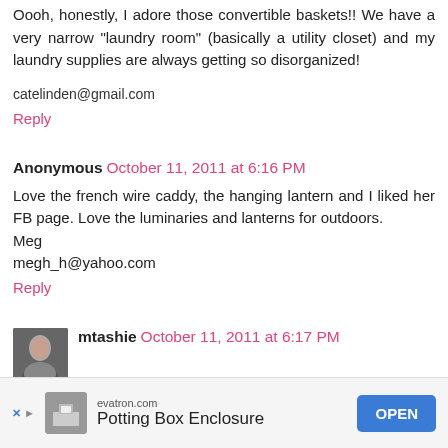Oooh, honestly, I adore those convertible baskets!! We have a very narrow "laundry room" (basically a utility closet) and my laundry supplies are always getting so disorganized!
catelinden@gmail.com
Reply
Anonymous  October 11, 2011 at 6:16 PM
Love the french wire caddy, the hanging lantern and I liked her FB page. Love the luminaries and lanterns for outdoors. Meg
megh_h@yahoo.com
Reply
mtashie  October 11, 2011 at 6:17 PM
[Figure (other): Advertisement banner at bottom of page for evatron.com showing 'Potting Box Enclosure' with an OPEN button]